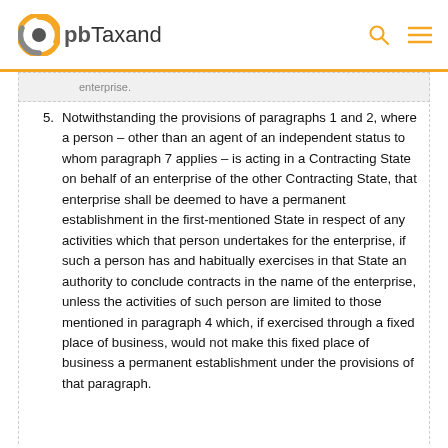pbTaxand
5. Notwithstanding the provisions of paragraphs 1 and 2, where a person – other than an agent of an independent status to whom paragraph 7 applies – is acting in a Contracting State on behalf of an enterprise of the other Contracting State, that enterprise shall be deemed to have a permanent establishment in the first-mentioned State in respect of any activities which that person undertakes for the enterprise, if such a person has and habitually exercises in that State an authority to conclude contracts in the name of the enterprise, unless the activities of such person are limited to those mentioned in paragraph 4 which, if exercised through a fixed place of business, would not make this fixed place of business a permanent establishment under the provisions of that paragraph.